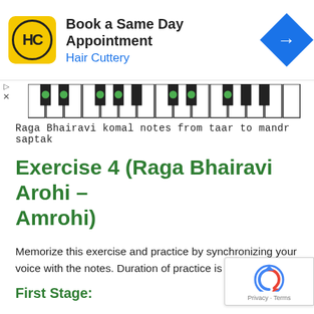[Figure (screenshot): Hair Cuttery advertisement banner with logo, 'Book a Same Day Appointment' text, and navigation icon]
[Figure (illustration): Piano keyboard graphic showing Raga Bhairavi komal notes with green dots marking specific keys]
Raga Bhairavi komal notes from taar to mandr saptak
Exercise 4 (Raga Bhairavi Arohi – Amrohi)
Memorize this exercise and practice by synchronizing your voice with the notes. Duration of practice is two days.
First Stage: